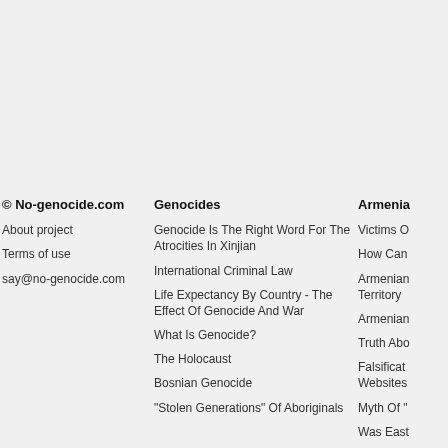© No-genocide.com
About project
Terms of use
say@no-genocide.com
Genocides
Genocide Is The Right Word For The Atrocities In Xinjian
International Criminal Law
Life Expectancy By Country - The Effect Of Genocide And War
What Is Genocide?
The Holocaust
Bosnian Genocide
"Stolen Generations" Of Aboriginals
Armenia
Victims O
How Can
Armenian Territory
Armenian
Truth Abo
Falsificat Websites
Myth Of "
Was East